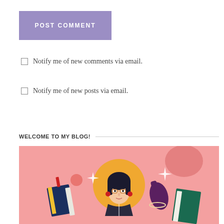POST COMMENT
Notify me of new comments via email.
Notify me of new posts via email.
WELCOME TO MY BLOG!
[Figure (illustration): Illustrated image of a young woman with dark hair and glasses, wearing earrings, surrounded by books and sparkle elements on a pink background with an orange circle halo behind her head. Hands holding books are visible on the sides.]